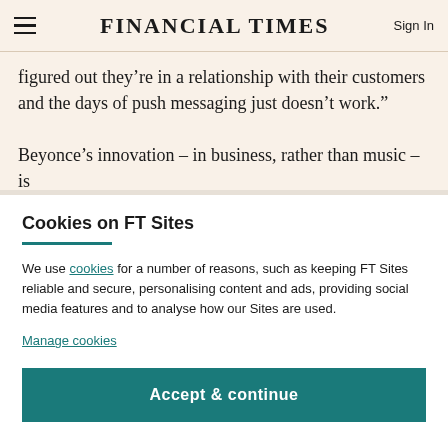FINANCIAL TIMES
figured out they’re in a relationship with their customers and the days of push messaging just doesn’t work.”

Beyonce’s innovation – in business, rather than music – is
Cookies on FT Sites
We use cookies for a number of reasons, such as keeping FT Sites reliable and secure, personalising content and ads, providing social media features and to analyse how our Sites are used.
Manage cookies
Accept & continue